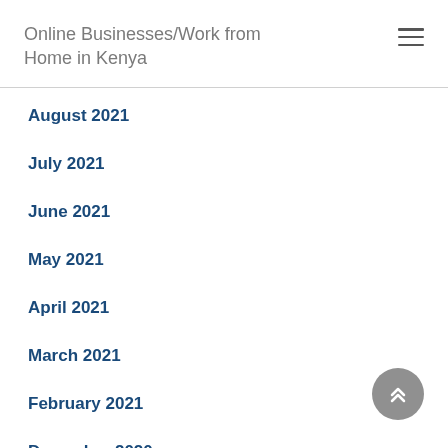Online Businesses/Work from Home in Kenya
August 2021
July 2021
June 2021
May 2021
April 2021
March 2021
February 2021
December 2020
November 2020